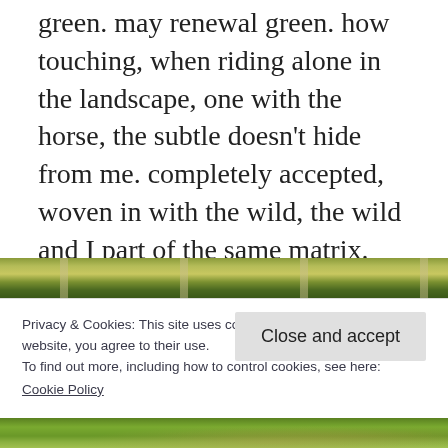...truly while riding a trailing up into green. may renewal green. how touching, when riding alone in the landscape, one with the horse, the subtle doesn't hide from me. completely accepted, woven in with the wild, the wild and I part of the same matrix. pains fall into place, perspectives become spring clear. all is well.
[Figure (photo): Partial view of a green outdoor landscape with trees, partially obscured by a cookie consent banner overlay]
Privacy & Cookies: This site uses cookies. By continuing to use this website, you agree to their use.
To find out more, including how to control cookies, see here:
Cookie Policy

Close and accept